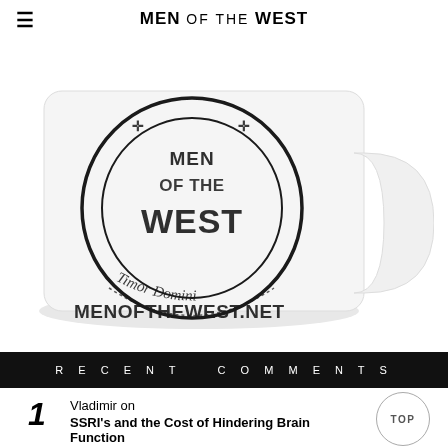MEN OF THE WEST
[Figure (photo): White ceramic mug with 'Men of the West' stamp logo, 'Timor Domini' text, and 'MENOFTHEWEST.NET' printed on it]
RECENT COMMENTS
1 Vladimir on SSRI's and the Cost of Hindering Brain Function